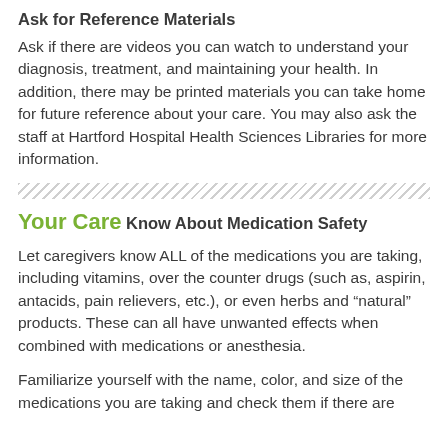Ask for Reference Materials
Ask if there are videos you can watch to understand your diagnosis, treatment, and maintaining your health. In addition, there may be printed materials you can take home for future reference about your care. You may also ask the staff at Hartford Hospital Health Sciences Libraries for more information.
Your Care
Know About Medication Safety
Let caregivers know ALL of the medications you are taking, including vitamins, over the counter drugs (such as, aspirin, antacids, pain relievers, etc.), or even herbs and “natural” products. These can all have unwanted effects when combined with medications or anesthesia.
Familiarize yourself with the name, color, and size of the medications you are taking and check them if there are